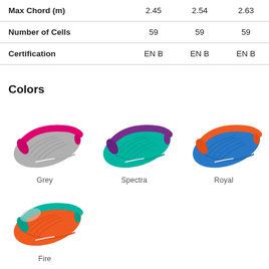|  | Col1 | Col2 | Col3 |
| --- | --- | --- | --- |
| Max Chord (m) | 2.45 | 2.54 | 2.63 |
| Number of Cells | 59 | 59 | 59 |
| Certification | EN B | EN B | EN B |
Colors
[Figure (illustration): Grey paraglider - gray body with pink/magenta leading edge]
[Figure (illustration): Spectra paraglider - teal/turquoise body with purple leading edge]
[Figure (illustration): Royal paraglider - blue body with orange leading edge]
[Figure (illustration): Fire paraglider - orange body with teal leading edge]
Grey
Fire
Spectra
Royal